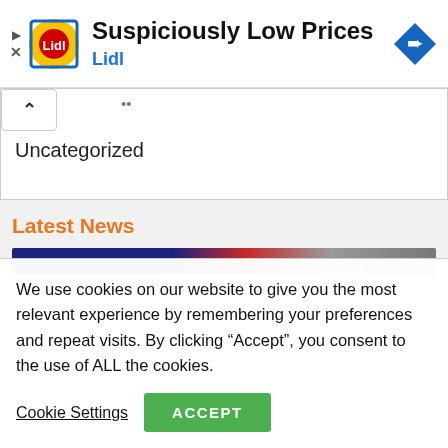[Figure (screenshot): Lidl advertisement banner with yellow Lidl logo circle, text 'Suspiciously Low Prices' and 'Lidl' in blue, and a blue navigation arrow diamond icon on the right. Play and X controls on the left edge.]
Uncategorized
Latest News
[Figure (photo): Partial image strip showing dark navy blue on left transitioning to red and gray tones, cropped news article image.]
We use cookies on our website to give you the most relevant experience by remembering your preferences and repeat visits. By clicking “Accept”, you consent to the use of ALL the cookies.
Cookie Settings
ACCEPT